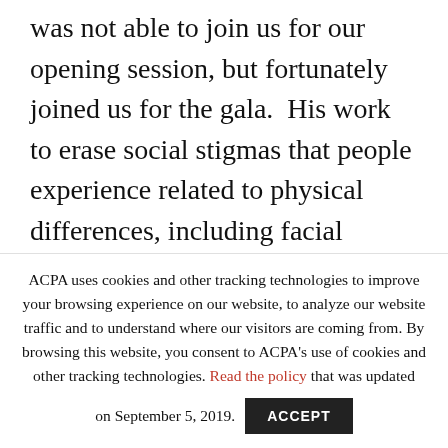was not able to join us for our opening session, but fortunately joined us for the gala. His work to erase social stigmas that people experience related to physical differences, including facial difference, was a powerful message for all. If you were not able to join us I encourage you to
ACPA uses cookies and other tracking technologies to improve your browsing experience on our website, to analyze our website traffic and to understand where our visitors are coming from. By browsing this website, you consent to ACPA's use of cookies and other tracking technologies. Read the policy that was updated on September 5, 2019.